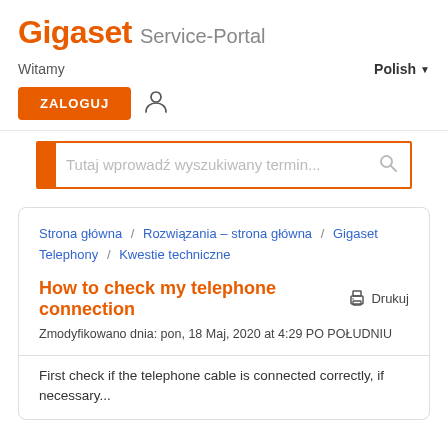Gigaset Service-Portal
Witamy
Polish ▾
ZALOGUJ
Tutaj wprowadź wyszukiwany termin...
Strona główna / Rozwiązania – strona główna / Gigaset Telephony / Kwestie techniczne
How to check my telephone connection
Drukuj
Zmodyfikowano dnia: pon, 18 Maj, 2020 at 4:29 PO POŁUDNIU
First check if the telephone cable is connected correctly, if necessary...